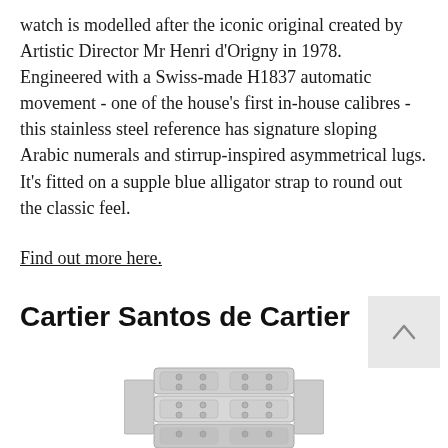watch is modelled after the iconic original created by Artistic Director Mr Henri d'Origny in 1978. Engineered with a Swiss-made H1837 automatic movement - one of the house's first in-house calibres - this stainless steel reference has signature sloping Arabic numerals and stirrup-inspired asymmetrical lugs. It's fitted on a supple blue alligator strap to round out the classic feel.
Find out more here.
Cartier Santos de Cartier
[Figure (photo): Close-up photo of a Cartier Santos de Cartier watch clasp/bracelet, showing stainless steel links with screws, partially visible at the bottom of the page.]